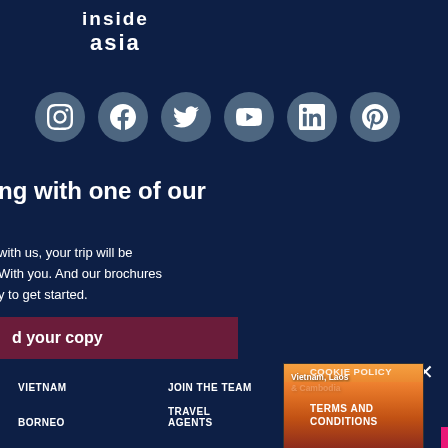[Figure (logo): Inside Asia logo in white text on dark navy background]
[Figure (infographic): Row of 6 social media icons (Instagram, Facebook, Twitter, YouTube, LinkedIn, Pinterest) as circular buttons with slate-blue backgrounds and white icons]
ng with one of our
with us, your trip will be
With you. And our brochures
y to get started.
[Figure (photo): Brochure cover for Vietnam, Laos & Cambodia showing a sunset over water with a silhouette, with Inside Asia logo and colorful geometric shapes at bottom]
d your copy
COOKIE POLICY
VIETNAM
JOIN THE TEAM
TERMS AND CONDITIONS
BORNEO
TRAVEL AGENTS